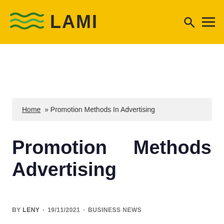LAMI
Home » Promotion Methods In Advertising
Promotion Methods In Advertising
BY LENY · 19/11/2021 · BUSINESS NEWS